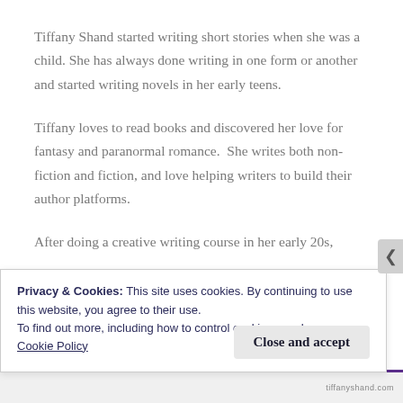Tiffany Shand started writing short stories when she was a child. She has always done writing in one form or another and started writing novels in her early teens.
Tiffany loves to read books and discovered her love for fantasy and paranormal romance.  She writes both non-fiction and fiction, and love helping writers to build their author platforms.
After doing a creative writing course in her early 20s,
Privacy & Cookies: This site uses cookies. By continuing to use this website, you agree to their use.
To find out more, including how to control cookies, see here:
Cookie Policy